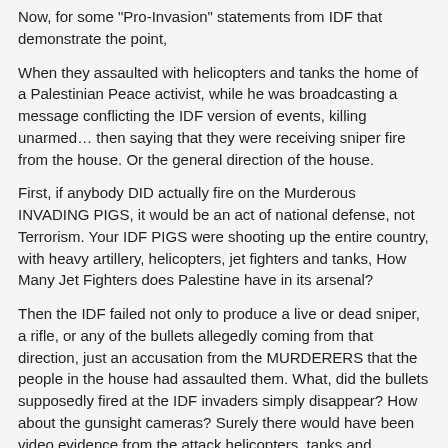Now, for some "Pro-Invasion" statements from IDF that demonstrate the point,
When they assaulted with helicopters and tanks the home of a Palestinian Peace activist, while he was broadcasting a message conflicting the IDF version of events, killing unarmed… then saying that they were receiving sniper fire from the house. Or the general direction of the house.
First, if anybody DID actually fire on the Murderous INVADING PIGS, it would be an act of national defense, not Terrorism. Your IDF PIGS were shooting up the entire country, with heavy artillery, helicopters, jet fighters and tanks, How Many Jet Fighters does Palestine have in its arsenal?
Then the IDF failed not only to produce a live or dead sniper, a rifle, or any of the bullets allegedly coming from that direction, just an accusation from the MURDERERS that the people in the house had assaulted them. What, did the bullets supposedly fired at the IDF invaders simply disappear? How about the gunsight cameras? Surely there would have been video evidence from the attack helicopters, tanks and embedded Propaganda News Cameras? No?
Partial of Deli…